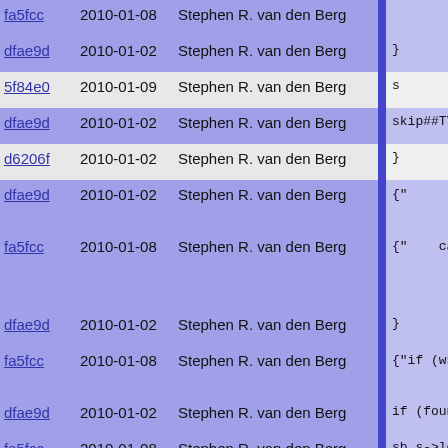| commit | date | author |  | code |
| --- | --- | --- | --- | --- |
| fa5fcc | 2010-01-08 | Stephen R. van den Berg |  |  |
| dfae9d | 2010-01-02 | Stephen R. van den Berg |  | } |
| 5f84e0 | 2010-01-09 | Stephen R. van den Berg |  | s |
| dfae9d | 2010-01-02 | Stephen R. van den Berg |  | skip##TYPE: |
| d6206f | 2010-01-02 | Stephen R. van den Berg |  | } |
| dfae9d | 2010-01-02 | Stephen R. van den Berg |  | }
} |
| fa5fcc | 2010-01-08 | Stephen R. van den Berg |  | case 0:
case 1:
case 2:
#undef NORMA |
| dfae9d | 2010-01-02 | Stephen R. van den Berg |  | } |
| fa5fcc | 2010-01-08 | Stephen R. van den Berg |  | if (wstemp
free(wst |
| dfae9d | 2010-01-02 | Stephen R. van den Berg |  | if (founds |
| fa5fcc | 2010-01-08 | Stephen R. van den Berg |  | sb.s->le |
| dfae9d | 2010-01-02 | Stephen R. van den Berg |  | RETURN fi
} |
| 8ff89d | 2016-07-04 | Martin Nilsson |  | /*! @decl st |